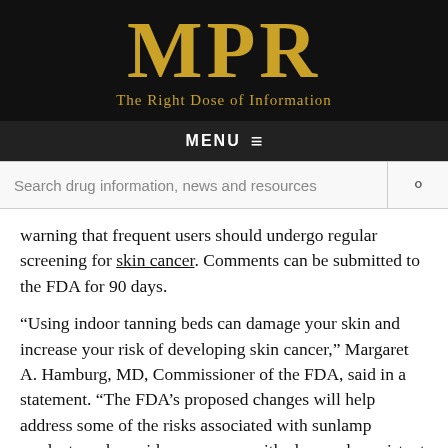[Figure (logo): MPR logo with tagline 'The Right Dose of Information' on black background]
MENU ≡
Search drug information, news and resources
warning that frequent users should undergo regular screening for skin cancer. Comments can be submitted to the FDA for 90 days.
“Using indoor tanning beds can damage your skin and increase your risk of developing skin cancer,” Margaret A. Hamburg, MD, Commissioner of the FDA, said in a statement. “The FDA’s proposed changes will help address some of the risks associated with sunlamp products and provide consumers with clear and consistent information.”